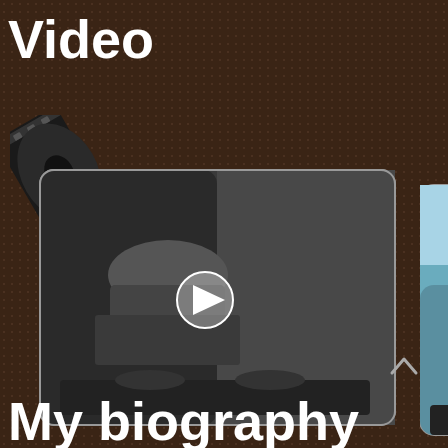Video
[Figure (photo): Black and white photo of a female DJ at turntables with film reel decoration overlay and play button]
[Figure (photo): Color photo of a woman in sunglasses and bikini top near a pool/water with DJ equipment and film reel decoration overlay and play button]
My biography